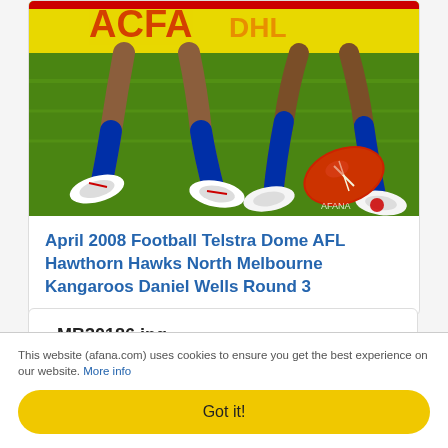[Figure (photo): AFL football match photo showing players' legs near a red football on green grass, with yellow advertising signage in the background. AFANA watermark visible.]
April 2008 Football Telstra Dome AFL Hawthorn Hawks North Melbourne Kangaroos Daniel Wells Round 3
_MB30186.jpg
Hawthorn player Michael Osborne is tackled by opponent Daniel Wells during AFL Round 3 where
This website (afana.com) uses cookies to ensure you get the best experience on our website. More info
Got it!